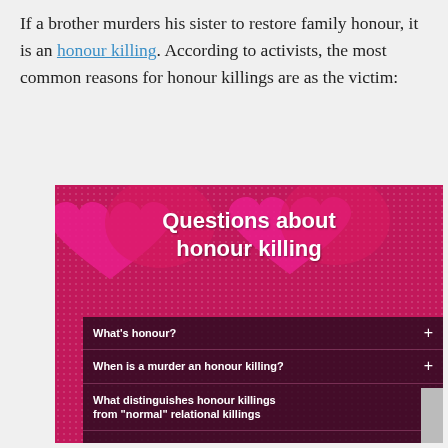If a brother murders his sister to restore family honour, it is an honour killing. According to activists, the most common reasons for honour killings are as the victim:
[Figure (infographic): An infographic with a pink/magenta background featuring two heart shapes, titled 'Questions about honour killing'. Below the title is a dark FAQ-style accordion list with five items: 'What's honour?', 'When is a murder an honour killing?', 'What distinguishes honour killings from "normal" relational killings', 'How many honour killings are there?', 'Should honour killings be called honour killings?']